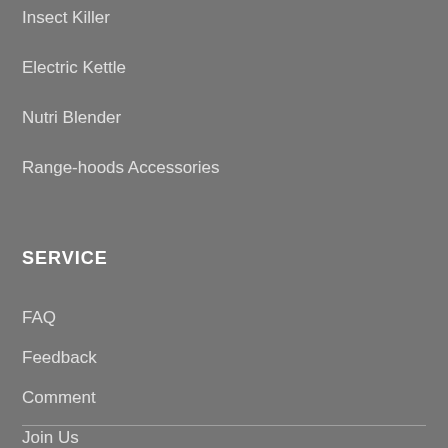Insect Killer
Electric Kettle
Nutri Blender
Range-hoods Accessories
SERVICE
FAQ
Feedback
Comment
Join Us